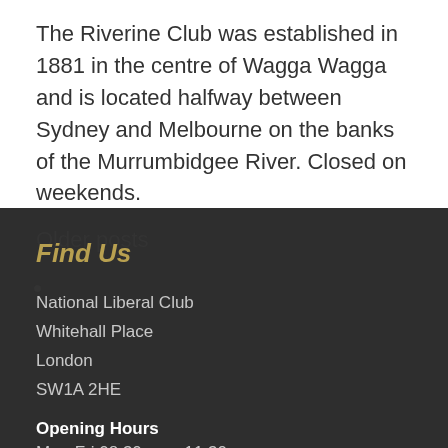The Riverine Club was established in 1881 in the centre of Wagga Wagga and is located halfway between Sydney and Melbourne on the banks of the Murrumbidgee River. Closed on weekends.
Older posts
Find Us
National Liberal Club
Whitehall Place
London
SW1A 2HE
Opening Hours
Mon-Fri 08.30am – 11.30pm